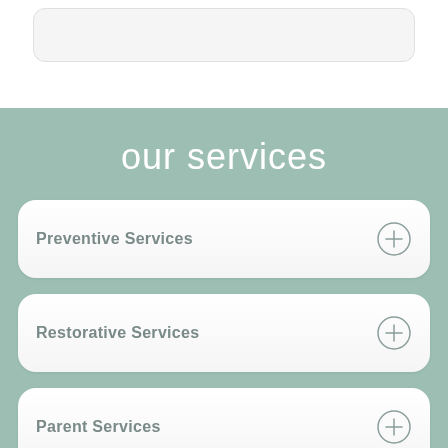[Figure (screenshot): Top white section with a rounded rectangle card stub visible at the top]
our services
Preventive Services
Restorative Services
Parent Services